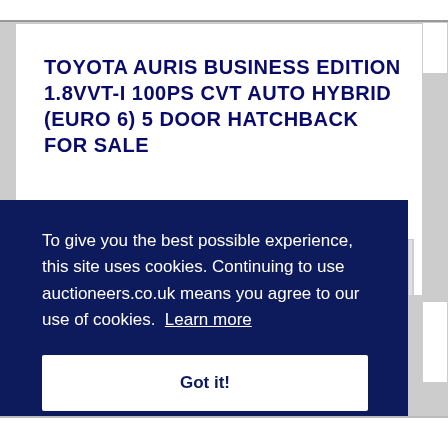TOYOTA AURIS BUSINESS EDITION 1.8VVT-I 100PS CVT AUTO HYBRID (EURO 6) 5 DOOR HATCHBACK FOR SALE
27 Photos
[Figure (photo): Partial view of a car dealership showroom interior with colorful flags, signage reading FINANCE FROM 2.0%, shelving with car parts, and a dark blue/black vehicle partially visible.]
To give you the best possible experience, this site uses cookies. Continuing to use auctioneers.co.uk means you agree to our use of cookies. Learn more
Got it!